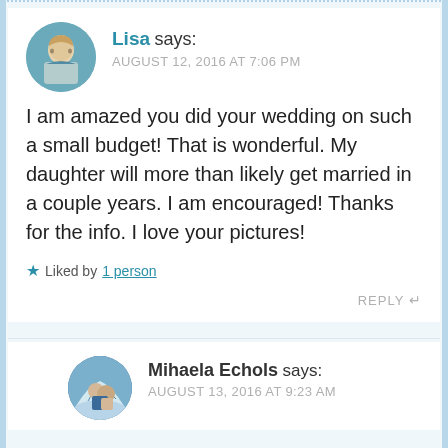Lisa says:
AUGUST 12, 2016 AT 7:06 PM
I am amazed you did your wedding on such a small budget! That is wonderful. My daughter will more than likely get married in a couple years. I am encouraged! Thanks for the info. I love your pictures!
Liked by 1 person
REPLY
Mihaela Echols says:
AUGUST 13, 2016 AT 9:23 AM